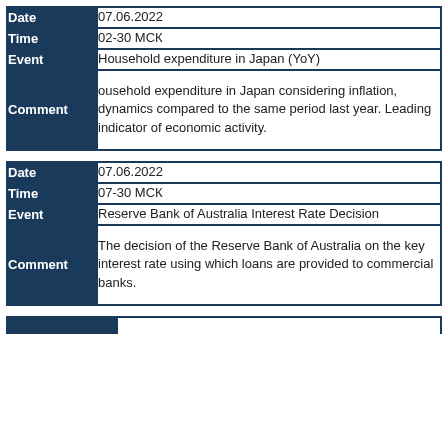| Field | Value |
| --- | --- |
| Date | 07.06.2022 |
| Time | 02-30 МСК |
| Event | Household expenditure in Japan (YoY) |
| Comment | ousehold expenditure in Japan considering inflation, dynamics compared to the same period last year. Leading indicator of economic activity. |
| Field | Value |
| --- | --- |
| Date | 07.06.2022 |
| Time | 07-30 МСК |
| Event | Reserve Bank of Australia Interest Rate Decision |
| Comment | The decision of the Reserve Bank of Australia on the key interest rate using which loans are provided to commercial banks. |